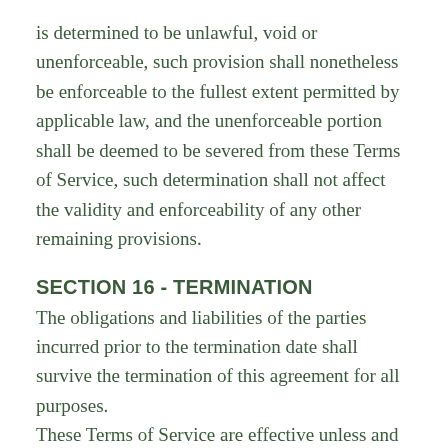is determined to be unlawful, void or unenforceable, such provision shall nonetheless be enforceable to the fullest extent permitted by applicable law, and the unenforceable portion shall be deemed to be severed from these Terms of Service, such determination shall not affect the validity and enforceability of any other remaining provisions.
SECTION 16 - TERMINATION
The obligations and liabilities of the parties incurred prior to the termination date shall survive the termination of this agreement for all purposes.
These Terms of Service are effective unless and until terminated by either you or us. You may terminate these Terms of Service at any time by notifying us that you no longer wish to use our Services, or when you cease